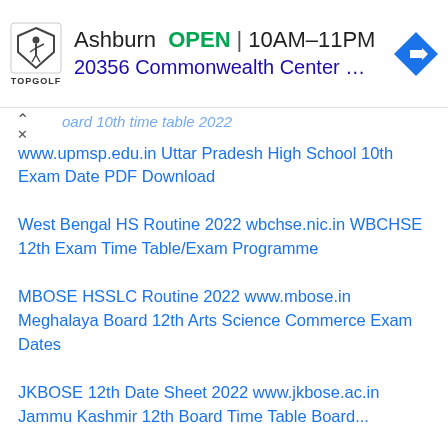[Figure (screenshot): Topgolf advertisement banner: Ashburn OPEN 10AM-11PM, 20356 Commonwealth Center ..., with Topgolf logo and blue diamond navigation arrow]
oard 10th time table 2022
www.upmsp.edu.in Uttar Pradesh High School 10th Exam Date PDF Download
West Bengal HS Routine 2022 wbchse.nic.in WBCHSE 12th Exam Time Table/Exam Programme
MBOSE HSSLC Routine 2022 www.mbose.in Meghalaya Board 12th Arts Science Commerce Exam Dates
JKBOSE 12th Date Sheet 2022 www.jkbose.ac.in Jammu Kashmir 12th Board Time Table Board...